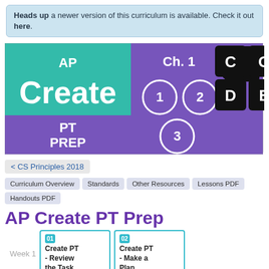Heads up a newer version of this curriculum is available. Check it out here.
[Figure (infographic): AP Create PT Prep banner with teal and purple sections showing Ch.1, circles numbered 1, 2, 3, and CODE blocks in black]
< CS Principles 2018
Curriculum Overview
Standards
Other Resources
Lessons PDF
Handouts PDF
AP Create PT Prep
Week 1 | 01 Create PT - Review the Task | 02 Create PT - Make a Plan
03 (partial)